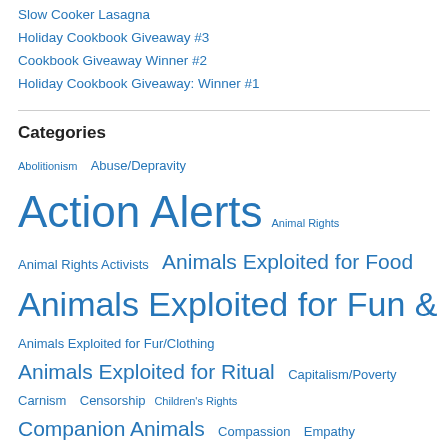Slow Cooker Lasagna
Holiday Cookbook Giveaway #3
Cookbook Giveaway Winner #2
Holiday Cookbook Giveaway: Winner #1
Categories
Abolitionism Abuse/Depravity Action Alerts Animal Rights Animal Rights Activists Animals Exploited for Food Animals Exploited for Fun & Sport Animals Exploited for Fur/Clothing Animals Exploited for Ritual Capitalism/Poverty Carnism Censorship Children's Rights Companion Animals Compassion Empathy Environment Feminism Government Health Humane Myth